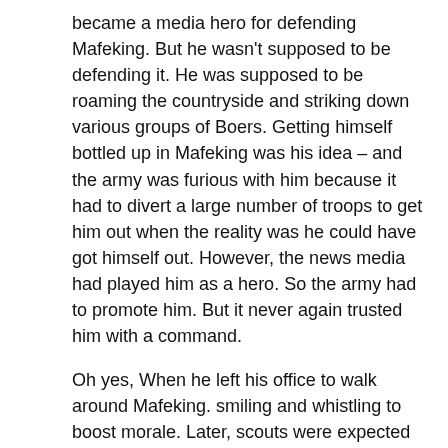became a media hero for defending Mafeking. But he wasn't supposed to be defending it. He was supposed to be roaming the countryside and striking down various groups of Boers. Getting himself bottled up in Mafeking was his idea – and the army was furious with him because it had to divert a large number of troops to get him out when the reality was he could have got himself out. However, the news media had played him as a hero. So the army had to promote him. But it never again trusted him with a command.
Oh yes, When he left his office to walk around Mafeking. smiling and whistling to boost morale. Later, scouts were expected to smile and whistle.
He also enjoyed seeing his boy scouts taking their normal (naked) morning dip at camp. Indeed, he made it his point to watch them. And he wrote how “amusing” it was to watch them.